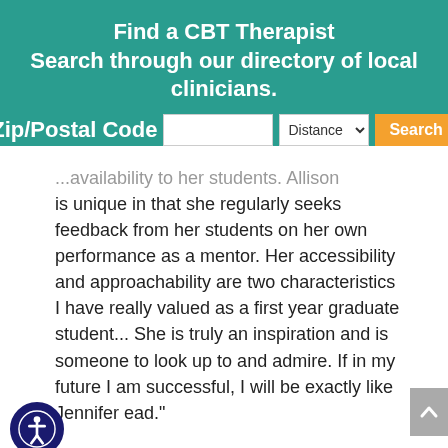Find a CBT Therapist Search through our directory of local clinicians.
Zip/Postal Code [input] Distance [dropdown] Search [button]
...is unique in that she regularly seeks feedback from her students on her own performance as a mentor. Her accessibility and approachability are two characteristics I have really valued as a first year graduate student... She is truly an inspiration and is someone to look up to and admire. If in my future I am successful, I will be exactly like Jennifer ead."